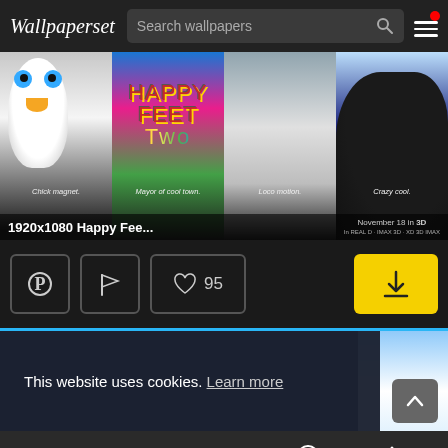Wallpaperset — Search wallpapers
[Figure (screenshot): Wallpaper image of Happy Feet Two movie with penguin characters and taglines: Chick magnet. Mayor of cool town. Loco motion. Crazy cool. Text overlay: 1920x1080 Happy Fee... November 18 in 3D]
1920x1080 Happy Fee...
[Figure (infographic): Action buttons row: Pinterest icon button, Flag icon button, Heart icon with count 95, Yellow download button]
This website uses cookies. Learn more
Facebook, Twitter, Email, Pinterest, Plus icons